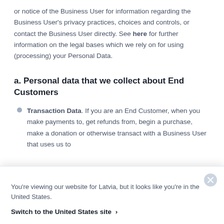or notice of the Business User for information regarding the Business User's privacy practices, choices and controls, or contact the Business User directly. See here for further information on the legal bases which we rely on for using (processing) your Personal Data.
a. Personal data that we collect about End Customers
Transaction Data. If you are an End Customer, when you make payments to, get refunds from, begin a purchase, make a donation or otherwise transact with a Business User that uses us to
You're viewing our website for Latvia, but it looks like you're in the United States.
Switch to the United States site ›
address, billing address, shipping address,